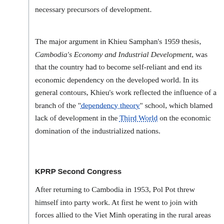necessary precursors of development.
The major argument in Khieu Samphan's 1959 thesis, Cambodia's Economy and Industrial Development, was that the country had to become self-reliant and end its economic dependency on the developed world. In its general contours, Khieu's work reflected the influence of a branch of the "dependency theory" school, which blamed lack of development in the Third World on the economic domination of the industrialized nations.
KPRP Second Congress
After returning to Cambodia in 1953, Pol Pot threw himself into party work. At first he went to join with forces allied to the Viet Minh operating in the rural areas of Kampong Cham Province (Kompong